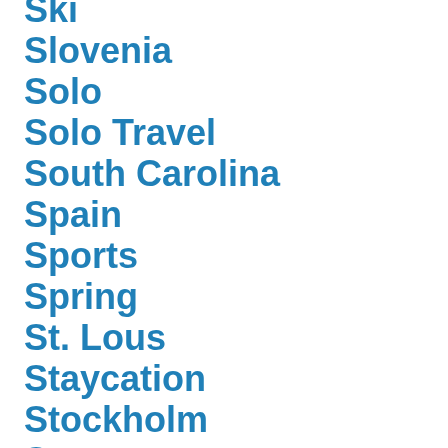Ski
Slovenia
Solo
Solo Travel
South Carolina
Spain
Sports
Spring
St. Lous
Staycation
Stockholm
Summer